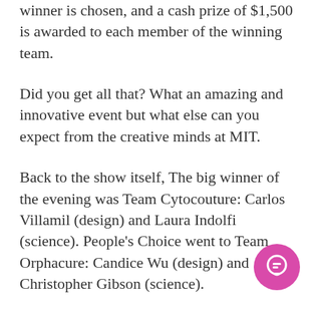winner is chosen, and a cash prize of $1,500 is awarded to each member of the winning team.
Did you get all that? What an amazing and innovative event but what else can you expect from the creative minds at MIT.
Back to the show itself, The big winner of the evening was Team Cytocouture: Carlos Villamil (design) and Laura Indolfi (science). People's Choice went to Team Orphacure: Candice Wu (design) and Christopher Gibson (science).
The panel of judges was so impressed with the collaborations that they decided to show at one of the